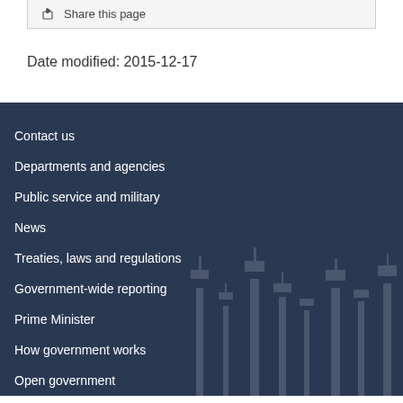Share this page
Date modified: 2015-12-17
Contact us
Departments and agencies
Public service and military
News
Treaties, laws and regulations
Government-wide reporting
Prime Minister
How government works
Open government